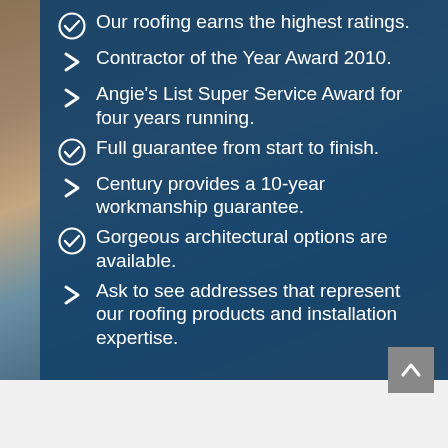Our roofing earns the highest ratings.
Contractor of the Year Award 2010.
Angie's List Super Service Award for four years running.
Full guarantee from start to finish.
Century provides a 10-year workmanship guarantee.
Gorgeous architectural options are available.
Ask to see addresses that represent our roofing products and installation expertise.